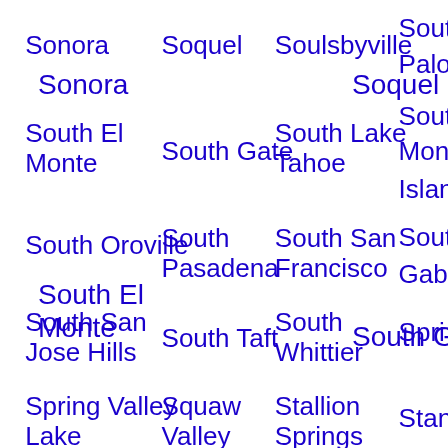Sonora
Soquel
Soulsbyville
South Palo
South El Monte
South Gate
South Lake Tahoe
South Mon Island
South Oroville
South Pasadena
South San Francisco
South Gab
South San Jose Hills
South Taft
South Whittier
Spri
Spring Valley Lake
Squaw Valley
Stallion Springs
Stan